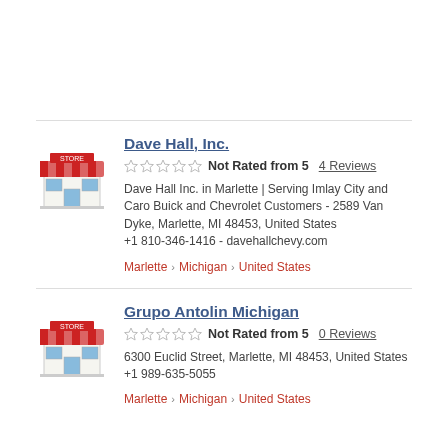[Figure (illustration): Store/shop icon for Dave Hall, Inc.]
Dave Hall, Inc.
Not Rated from 5   4 Reviews
Dave Hall Inc. in Marlette | Serving Imlay City and Caro Buick and Chevrolet Customers - 2589 Van Dyke, Marlette, MI 48453, United States +1 810-346-1416 - davehallchevy.com
Marlette > Michigan > United States
[Figure (illustration): Store/shop icon for Grupo Antolin Michigan]
Grupo Antolin Michigan
Not Rated from 5   0 Reviews
6300 Euclid Street, Marlette, MI 48453, United States +1 989-635-5055
Marlette > Michigan > United States